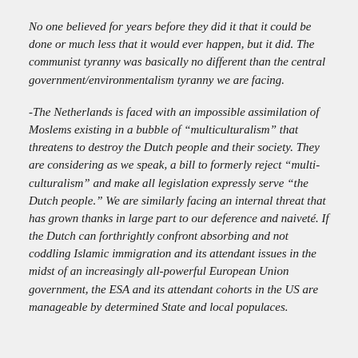No one believed for years before they did it that it could be done or much less that it would ever happen, but it did.  The communist tyranny was basically no different than the central government/environmentalism tyranny we are facing.
-The Netherlands is faced with an impossible assimilation of Moslems existing in a bubble of “multiculturalism” that threatens to destroy the Dutch people and their society.  They are considering as we speak, a bill to formerly reject “multi-culturalism” and make all legislation expressly serve “the Dutch people.”  We are similarly facing an internal threat that has grown thanks in large part to our deference and naiveté.  If the Dutch can forthrightly confront absorbing and not coddling Islamic immigration and its attendant issues in the midst of an increasingly all-powerful European Union government, the ESA and its attendant cohorts in the US are manageable by determined State and local populaces.